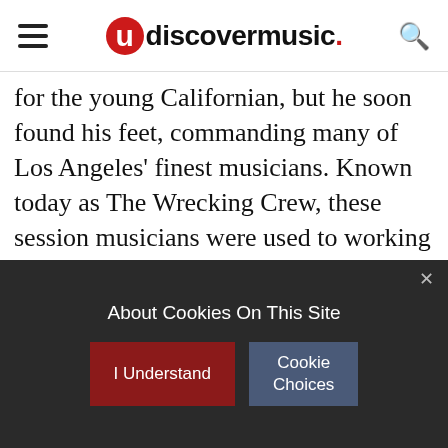udiscovermusic.
for the young Californian, but he soon found his feet, commanding many of Los Angeles' finest musicians. Known today as The Wrecking Crew, these session musicians were used to working with only the best. But it was Wilson who pushed them furthest and hardest, challenging them to keep up with the increasingly complex music he was conjuring in his mind.
Layer upon layer of the brightest sounds combined to create simple-sounding pop music bleached by
About Cookies On This Site
I Understand
Cookie Choices